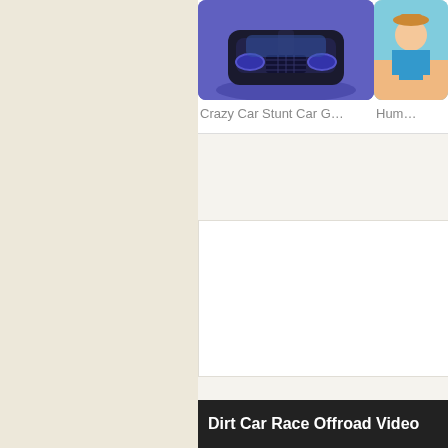[Figure (screenshot): Partial view of a game thumbnail for 'Crazy Car Stunt Car G...' showing a dark blue/purple racing car front view on a purple background]
Crazy Car Stunt Car G...
[Figure (screenshot): Partial view of a game thumbnail for 'Hum...' showing a cartoon character on a beach/colorful background]
Hum...
[Figure (screenshot): White blank card/advertisement area in the middle]
Dirt Car Race Offroad Video